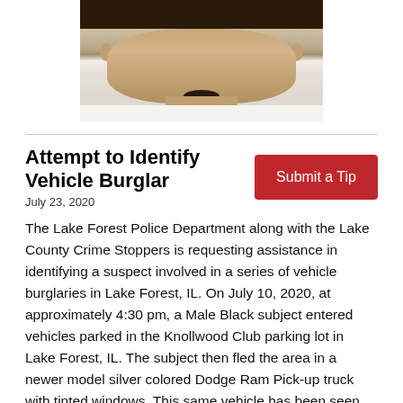[Figure (photo): Partial face photo of a person with dark hair and mustache, wearing a white shirt. The top portion of the face is visible.]
Attempt to Identify Vehicle Burglar
July 23, 2020
The Lake Forest Police Department along with the Lake County Crime Stoppers is requesting assistance in identifying a suspect involved in a series of vehicle burglaries in Lake Forest, IL. On July 10, 2020, at approximately 4:30 pm, a Male Black subject entered vehicles parked in the Knollwood Club parking lot in Lake Forest, IL. The subject then fled the area in a newer model silver colored Dodge Ram Pick-up truck with tinted windows. This same vehicle has been seen on video surveillance driving through parking lots of other country